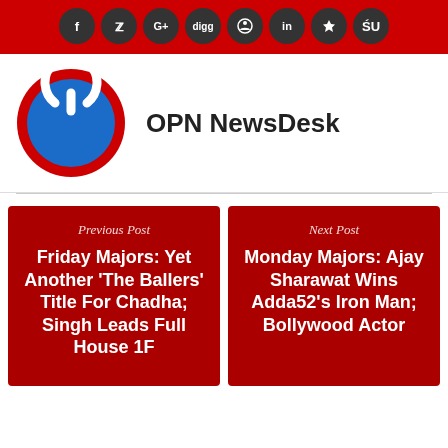[Figure (other): Red social sharing bar with circular dark icons for Facebook, Twitter, Google+, Digg, Reddit, LinkedIn, Pinterest, StumbleUpon]
[Figure (logo): OPN NewsDesk author logo: circular red border, blue circle, white power button icon]
OPN NewsDesk
Previous Post
Friday Majors: Yet Another 'The Ballers' Title For Chadha; Singh Leads Full House 1F
Next Post
Monday Majors: Ajay Sharawat Wins Adda52's Iron Man; Bollywood Actor